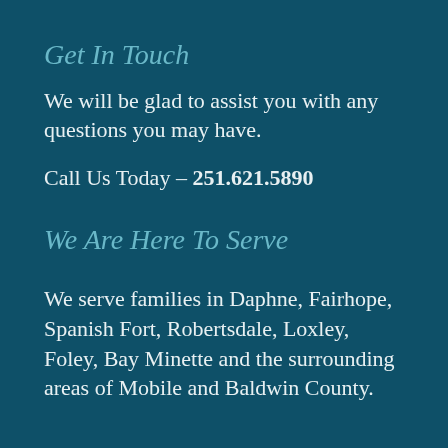Get In Touch
We will be glad to assist you with any questions you may have.
Call Us Today – 251.621.5890
We Are Here To Serve
We serve families in Daphne, Fairhope, Spanish Fort, Robertsdale, Loxley, Foley, Bay Minette and the surrounding areas of Mobile and Baldwin County.